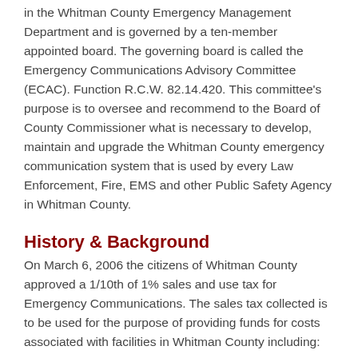in the Whitman County Emergency Management Department and is governed by a ten-member appointed board. The governing board is called the Emergency Communications Advisory Committee (ECAC). Function R.C.W. 82.14.420. This committee's purpose is to oversee and recommend to the Board of County Commissioner what is necessary to develop, maintain and upgrade the Whitman County emergency communication system that is used by every Law Enforcement, Fire, EMS and other Public Safety Agency in Whitman County.
History & Background
On March 6, 2006 the citizens of Whitman County approved a 1/10th of 1% sales and use tax for Emergency Communications. The sales tax collected is to be used for the purpose of providing funds for costs associated with facilities in Whitman County including:
Acquisition
Construction